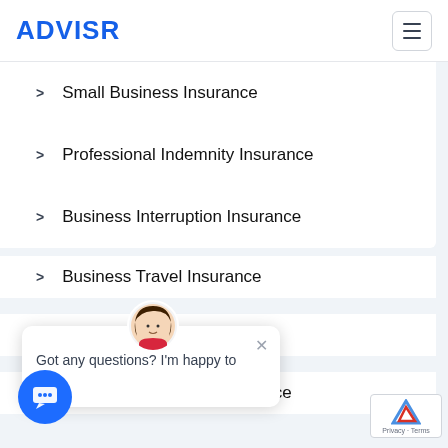ADVISR
Small Business Insurance
Professional Indemnity Insurance
Business Interruption Insurance
Business Travel Insurance
Key Man Insurance
Medical Malpractice Insurance
Got any questions? I'm happy to help.
nsurance
Truck Insurance
Crop Insurance
General Insurance